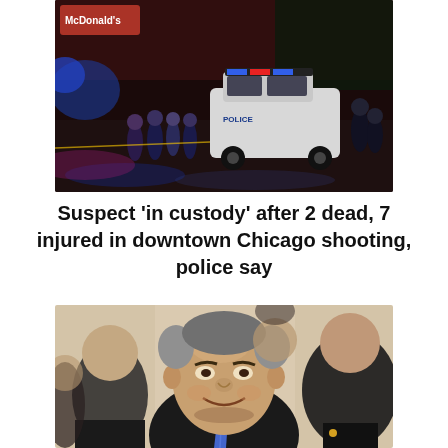[Figure (photo): Nighttime street scene with police vehicles (marked police SUV) and officers gathered at a crime scene, blue emergency lights, McDonald's sign visible in background]
Suspect ‘in custody’ after 2 dead, 7 injured in downtown Chicago shooting, police say
[Figure (photo): A smiling older man in a dark suit with blue tie (president Erdogan) in the foreground, with several other men visible behind him]